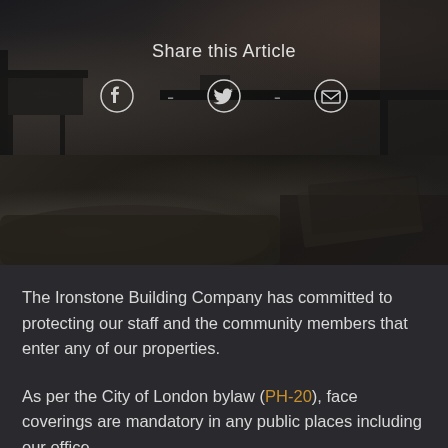[Figure (photo): Dark interior photo of a room with chairs and furniture, overlaid with 'Share this Article' text and social media icons (Facebook, Twitter, Email)]
Share this Article
[Figure (photo): Dark interior photo showing a table or surface with items on it, partially visible]
The Ironstone Building Company has committed to protecting our staff and the community members that enter any of our properties.
As per the City of London bylaw (PH-20), face coverings are mandatory in any public places including our office,